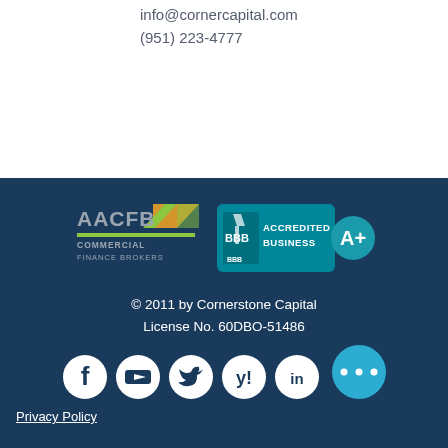info@cornercapital.com
(951) 223-4777
[Figure (logo): AACFB Commercial Finance Brokers logo with green and yellow chevron graphic]
[Figure (logo): BBB Accredited Business A+ rating badge]
© 2011 by Cornerstone Capital
License No. 60DBO-51486
[Figure (infographic): Social media icons row: Facebook, YouTube, Twitter, Yelp, LinkedIn, and a teal more-options button with three dots]
Privacy Policy